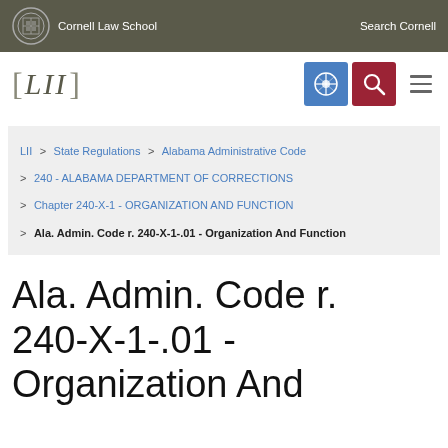Cornell Law School | Search Cornell
[Figure (logo): LII Legal Information Institute logo with navigation icons]
LII > State Regulations > Alabama Administrative Code > 240 - ALABAMA DEPARTMENT OF CORRECTIONS > Chapter 240-X-1 - ORGANIZATION AND FUNCTION > Ala. Admin. Code r. 240-X-1-.01 - Organization And Function
Ala. Admin. Code r. 240-X-1-.01 - Organization And